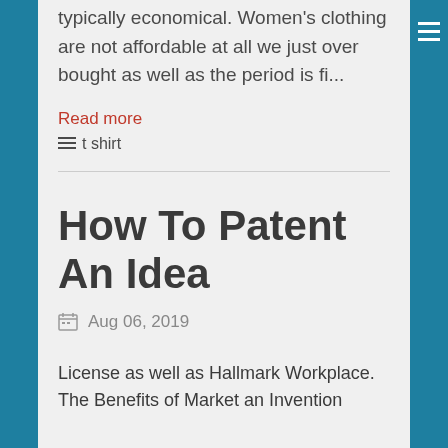typically economical. Women's clothing are not affordable at all we just over bought as well as the period is fi...
Read more
t shirt
How To Patent An Idea
Aug 06, 2019
License as well as Hallmark Workplace. The Benefits of Market an Invention...